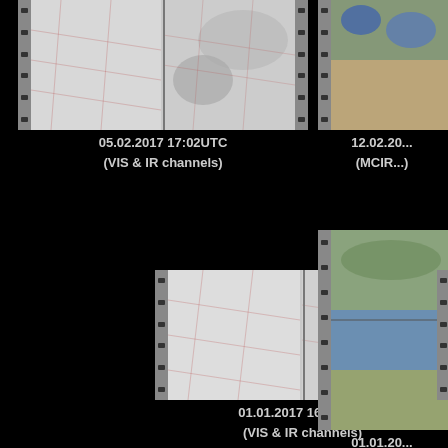[Figure (photo): Satellite image showing VIS & IR channels for 05.02.2017 17:02UTC, film strip format with two panels side by side]
05.02.2017 17:02UTC
(VIS & IR channels)
[Figure (photo): Satellite image showing MCIR channel for 12.02.2017, film strip format, partially cropped on right]
12.02.20...
(MCIR...)
[Figure (photo): Satellite image showing VIS & IR channels for 01.01.2017 16:34UTC, film strip format with two panels side by side]
01.01.2017 16:34UTC
(VIS & IR channels)
[Figure (photo): Satellite image showing MCIR channel for 01.01.201x, film strip format, partially cropped on right]
01.01.20...
(MCIR...)
[Figure (photo): Satellite image showing VIS & IR channels, bottom row, film strip format with two panels side by side, partially cropped]
[Figure (photo): Satellite image showing MCIR channel, bottom row, film strip format, partially cropped]